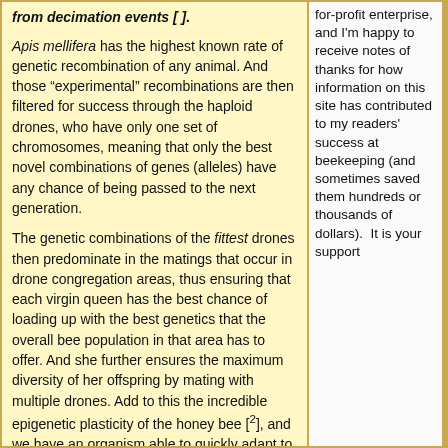from decimation events [].
Apis mellifera has the highest known rate of genetic recombination of any animal. And those “experimental” recombinations are then filtered for success through the haploid drones, who have only one set of chromosomes, meaning that only the best novel combinations of genes (alleles) have any chance of being passed to the next generation.
The genetic combinations of the fittest drones then predominate in the matings that occur in drone congregation areas, thus ensuring that each virgin queen has the best chance of loading up with the best genetics that the overall bee population in that area has to offer. And she further ensures the maximum diversity of her offspring by mating with multiple drones. Add to this the incredible epigenetic plasticity of the honey bee [2], and we have an organism able to quickly adapt to whatever Nature throws at it!
I observe something similar with beekeepers. Those who are consistently trying new things and adapting to the changing biological and business environments are those who tend to be the most successful in the long run.
for-profit enterprise, and I'm happy to receive notes of thanks for how information on this site has contributed to my readers' success at beekeeping (and sometimes saved them hundreds or thousands of dollars). It is your support